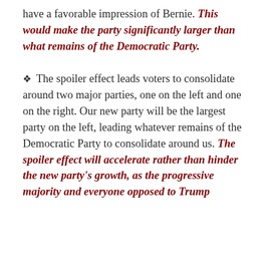have a favorable impression of Bernie. This would make the party significantly larger than what remains of the Democratic Party.
❖ The spoiler effect leads voters to consolidate around two major parties, one on the left and one on the right. Our new party will be the largest party on the left, leading whatever remains of the Democratic Party to consolidate around us. The spoiler effect will accelerate rather than hinder the new party's growth, as the progressive majority and everyone opposed to Trump